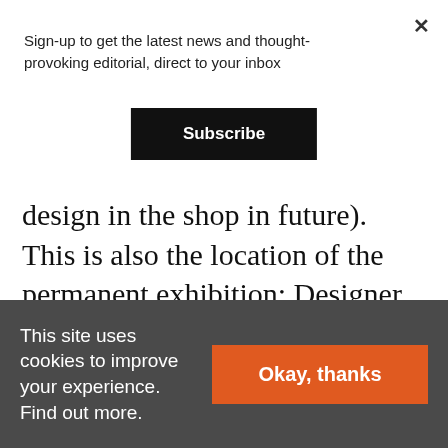Sign-up to get the latest news and thought-provoking editorial, direct to your inbox
Subscribe
design in the shop in future). This is also the location of the permanent exhibition: Designer, Maker, User, devoted to contemporary design and architecture, which I felt given the spaciousness of the top was a little confined and needed to be
This site uses cookies to improve your experience. Find out more.
Okay, thanks